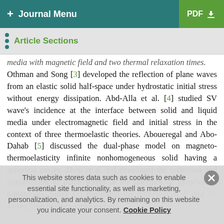+ Journal Menu   PDF ↓
Article Sections
media with magnetic field and two thermal relaxation times. Othman and Song [3] developed the reflection of plane waves from an elastic solid half-space under hydrostatic initial stress without energy dissipation. Abd-Alla et al. [4] studied SV wave's incidence at the interface between solid and liquid media under electromagnetic field and initial stress in the context of three thermoelastic theories. Aboueregal and Abo-Dahab [5] discussed the dual-phase model on magneto-thermoelasticity infinite nonhomogeneous solid having a spherical cavity. Zhou et al. [6] developed the reflection and transmission of plane waves at the interface of pyroelectric bimaterials. Singh [7] illustrated the reflection of P and SV waves from the free surface of an
This website stores data such as cookies to enable essential site functionality, as well as marketing, personalization, and analytics. By remaining on this website you indicate your consent. Cookie Policy